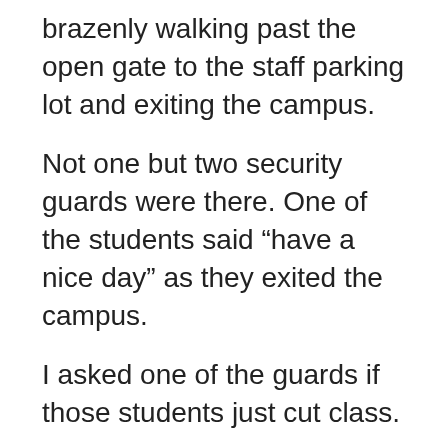brazenly walking past the open gate to the staff parking lot and exiting the campus.
Not one but two security guards were there.  One of the students said “have a nice day” as they exited the campus.
I asked one of the guards if those students just cut class.
He said, “Oh, yes.  They do it all